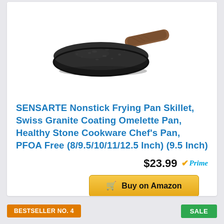[Figure (photo): A dark granite-coated nonstick frying pan with a wooden-style brown handle, viewed from slightly above at an angle, on a white background.]
SENSARTE Nonstick Frying Pan Skillet, Swiss Granite Coating Omelette Pan, Healthy Stone Cookware Chef's Pan, PFOA Free (8/9.5/10/11/12.5 Inch) (9.5 Inch)
$23.99 Prime
Buy on Amazon
BESTSELLER NO. 4
SALE